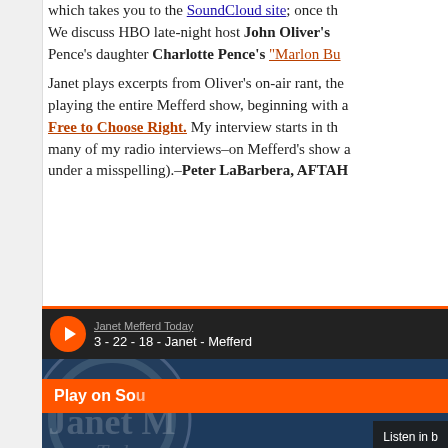which takes you to the SoundCloud site; once th... We discuss HBO late-night host John Oliver's ... Pence's daughter Charlotte Pence's "Marlon Bu...
Janet plays excerpts from Oliver's on-air rant, the... playing the entire Mefferd show, beginning with a... "Free to Choose Right." My interview starts in th... many of my radio interviews–on Mefferd's show a... under a misspelling).–Peter LaBarbera, AFTAH
[Figure (screenshot): SoundCloud embedded player showing Janet Mefferd Today episode '3 - 22 - 18 - Janet - Mefferd' with orange play button, circular logo, orange 'Play on Sou...' bar, and 'Listen in b...' button]